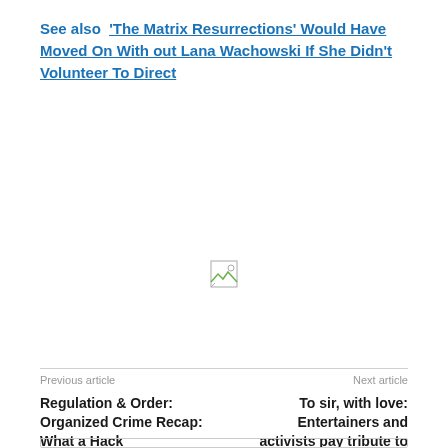See also  'The Matrix Resurrections' Would Have Moved On With out Lana Wachowski If She Didn't Volunteer To Direct
[Figure (other): Broken/missing image placeholder icon]
Previous article
Next article
Regulation & Order: Organized Crime Recap: What a Hack
To sir, with love: Entertainers and activists pay tribute to Sidney Poitier